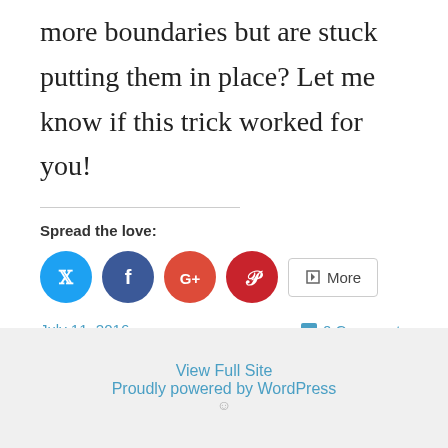more boundaries but are stuck putting them in place? Let me know if this trick worked for you!
Spread the love:
[Figure (other): Social sharing buttons: Twitter (blue circle), Facebook (dark blue circle), Google+ (orange-red circle), Pinterest (red circle), and a More button with share icon]
July 11, 2016
0 Comments
View Full Site
Proudly powered by WordPress